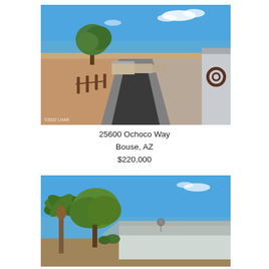[Figure (photo): Exterior photo of a rural property with a paved/gravel driveway leading to mobile homes, desert landscaping, wooden fence posts, a large tree in background, and a blue sky. Watermark '©2022 LHAR' visible in lower-left corner.]
25600 Ochoco Way
Bouse, AZ
$220,000
[Figure (photo): Exterior photo of a mobile home in a desert setting with palm trees and green-leafed trees in the foreground, satellite dish visible, blue sky background.]